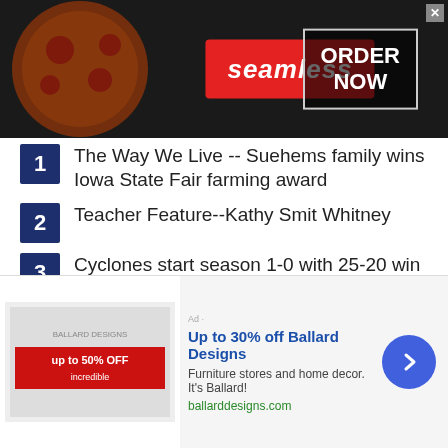[Figure (screenshot): Seamless food delivery advertisement banner with pizza background, red Seamless logo badge, and ORDER NOW button]
1. The Way We Live -- Suehems family wins Iowa State Fair farming award
2. Teacher Feature--Kathy Smit Whitney
3. Cyclones start season 1-0 with 25-20 win over Wapsie Valley
4. Former Go-Hawk wrestling coach to be inducted in BVU Hall of Fame
5. Go-Hawks top Indians 42-14 on opening night
[Figure (screenshot): Ballard Designs advertisement - Up to 30% off Ballard Designs, Furniture stores and home decor. It's Ballard! ballarddesigns.com]